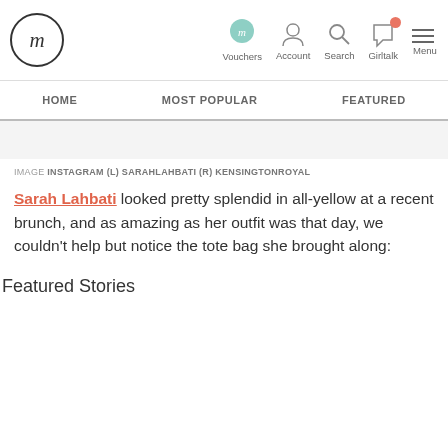Femina logo nav: Vouchers, Account, Search, Girltalk, Menu
HOME | MOST POPULAR | FEATURED
IMAGE INSTAGRAM (L) SARAHLAHBATI (R) KENSINGTONROYAL
Sarah Lahbati looked pretty splendid in all-yellow at a recent brunch, and as amazing as her outfit was that day, we couldn't help but notice the tote bag she brought along:
Featured Stories